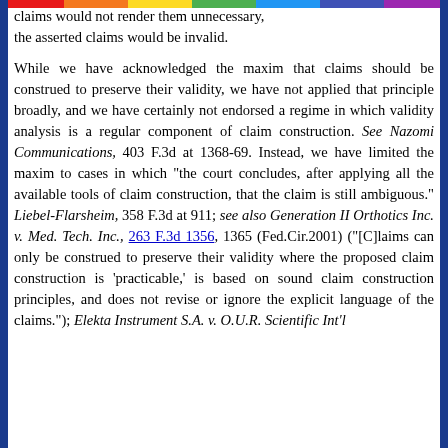claims would not render them unnecessary, the asserted claims would be invalid.

While we have acknowledged the maxim that claims should be construed to preserve their validity, we have not applied that principle broadly, and we have certainly not endorsed a regime in which validity analysis is a regular component of claim construction. See Nazomi Communications, 403 F.3d at 1368-69. Instead, we have limited the maxim to cases in which "the court concludes, after applying all the available tools of claim construction, that the claim is still ambiguous." Liebel-Flarsheim, 358 F.3d at 911; see also Generation II Orthotics Inc. v. Med. Tech. Inc., 263 F.3d 1356, 1365 (Fed.Cir.2001) ("[C]laims can only be construed to preserve their validity where the proposed claim construction is 'practicable,' is based on sound claim construction principles, and does not revise or ignore the explicit language of the claims."); Elekta Instrument S.A. v. O.U.R. Scientific Int'l.